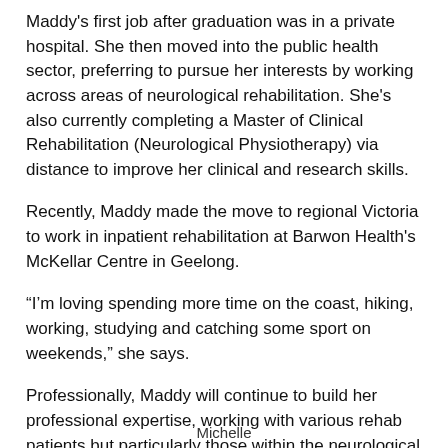Maddy's first job after graduation was in a private hospital. She then moved into the public health sector, preferring to pursue her interests by working across areas of neurological rehabilitation. She's also currently completing a Master of Clinical Rehabilitation (Neurological Physiotherapy) via distance to improve her clinical and research skills.
Recently, Maddy made the move to regional Victoria to work in inpatient rehabilitation at Barwon Health's McKellar Centre in Geelong.
“I’m loving spending more time on the coast, hiking, working, studying and catching some sport on weekends,” she says.
Professionally, Maddy will continue to build her professional expertise, working with various rehab patients but particularly those within the neurological population. She hopes to progress her career in the public hospital sector and take on additional leadership roles in the future.
Michelle